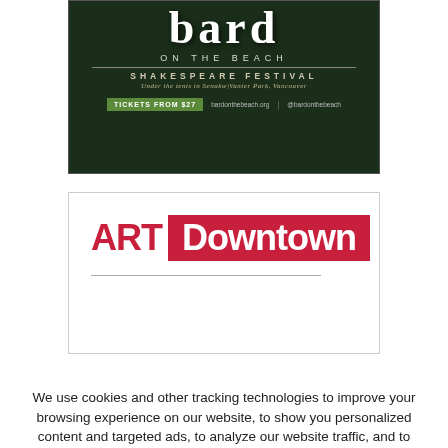[Figure (advertisement): Bard on the Beach Shakespeare Festival advertisement. Dark green background with white text. Shows 'bard ON THE BEACH', 'SHAKESPEARE FESTIVAL', italic text 'Under the tents in Senakw|Vanier Park, Vancouver', green button 'TICKETS FROM $27', website bardonthebeach.org and @bardonthebeach.]
[Figure (advertisement): ART Downtown advertisement. White background with red text 'ART' and red box with white text 'Downtown'. Partial view showing logo and a horizontal rule.]
We use cookies and other tracking technologies to improve your browsing experience on our website, to show you personalized content and targeted ads, to analyze our website traffic, and to understand where our visitors are coming from. By browsing our website, you consent to our use of cookies and other tracking technologies.
Accept
BACK TO TOP